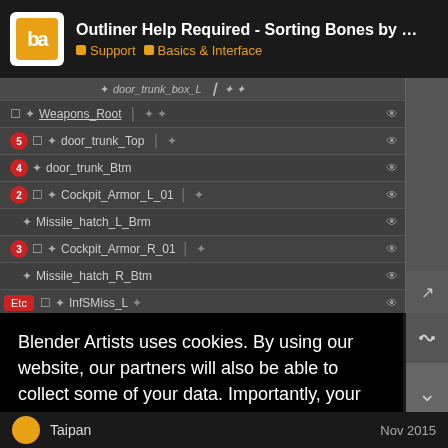Outliner Help Required - Sorting Bones by Nam... | Support | Basics & Interface
[Figure (screenshot): Blender outliner panel showing a bone hierarchy with numbered badges (5, 4, 2, 3) highlighting specific bones: Weapons_Root, door_trunk_Top, door_trunk_Btm, Cockpit_Armor_L_01, Missile_hatch_L_Brm, Cockpit_Armor_R_01, Missile_hatch_R_Btm]
Blender Artists uses cookies. By using our website, our partners will also be able to collect some of your data. Importantly, your data can be used to personalise ads. For a detailed overview, please see our
privacy policy page.
Got it!
Taipan                                                                                          Nov 2015